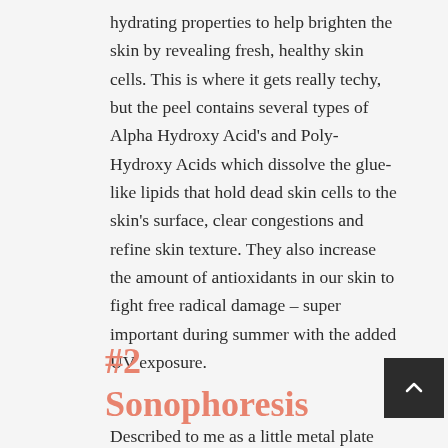hydrating properties to help brighten the skin by revealing fresh, healthy skin cells. This is where it gets really techy, but the peel contains several types of Alpha Hydroxy Acid's and Poly-Hydroxy Acids which dissolve the glue-like lipids that hold dead skin cells to the skin's surface, clear congestions and refine skin texture. They also increase the amount of antioxidants in our skin to fight free radical damage – super important during summer with the added UV exposure.
#2 Sonophoresis
Described to me as a little metal plate